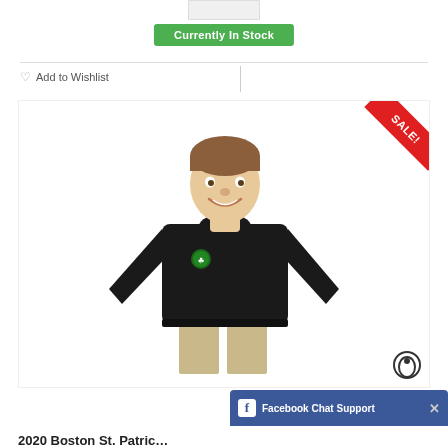[Figure (other): Small product thumbnail placeholder at top]
Currently In Stock
Add to Wishlist
[Figure (photo): Man wearing black long-sleeve shirt with small green logo on chest, khaki pants, smiling. Red SALE! corner ribbon in top-right. Watermark logo bottom-right.]
Facebook Chat Support
2020 Boston St. Patric…